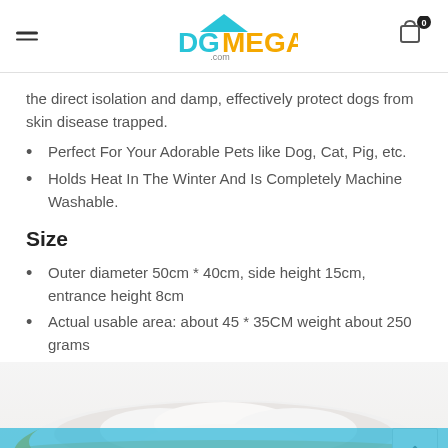DOGMEGA.COM
the direct isolation and damp, effectively protect dogs from skin disease trapped.
Perfect For Your Adorable Pets like Dog, Cat, Pig, etc.
Holds Heat In The Winter And Is Completely Machine Washable.
Size
Outer diameter 50cm * 40cm, side height 15cm, entrance height 8cm
Actual usable area: about 45 * 35CM weight about 250 grams
[Figure (photo): White and orange oval/round pet bed viewed from above, showing fluffy white interior with orange outer rim]